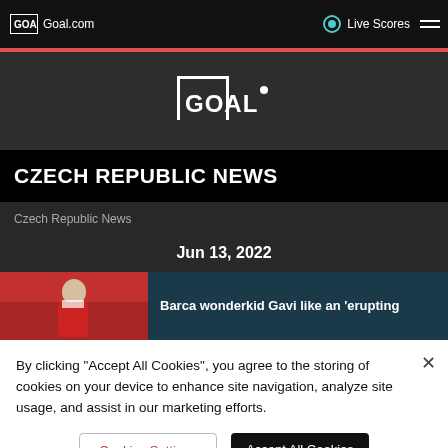Goal.com | Live Scores
[Figure (logo): Goal.com logo — white goalpost bracket with GOAL text]
CZECH REPUBLIC NEWS
Czech Republic News
Jun 13, 2022
[Figure (photo): Soccer player in red and white jersey with crowd in background]
Barca wonderkid Gavi like an 'erupting
By clicking "Accept All Cookies", you agree to the storing of cookies on your device to enhance site navigation, analyze site usage, and assist in our marketing efforts.
Cookies Settings
Accept All Cookies